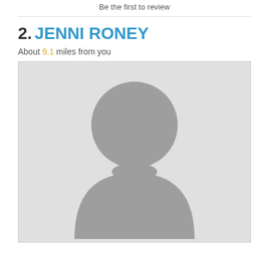Be the first to review
2. JENNI RONEY
About 9.1 miles from you
[Figure (photo): Default user avatar placeholder image — grey background with a grey silhouette of a person (head circle and shoulders shape)]